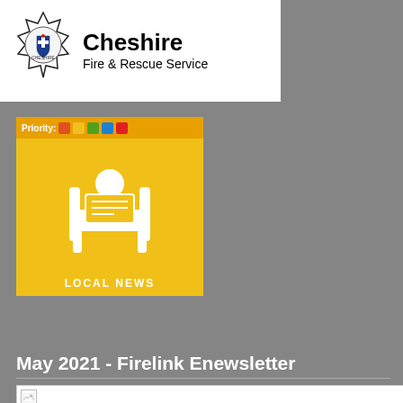[Figure (logo): Cheshire Fire and Rescue Service logo with badge/crest on left and organisation name on right]
[Figure (illustration): Yellow LOCAL NEWS badge with priority colour bar at top and firefighter/person reading newspaper icon in centre]
May 2021 - Firelink Enewsletter
[Figure (photo): Broken/missing image placeholder (white rectangle with small image icon)]
Welcome to the May edition of the Cheshire Fire and Rescue Service e-Newsletter.
Two firefighters honoured with Queen's Commendation for Bravery
Two firefighters from Cheshire Fire and Rescue Service have been honoured with a Queen's Commendation for Bravery